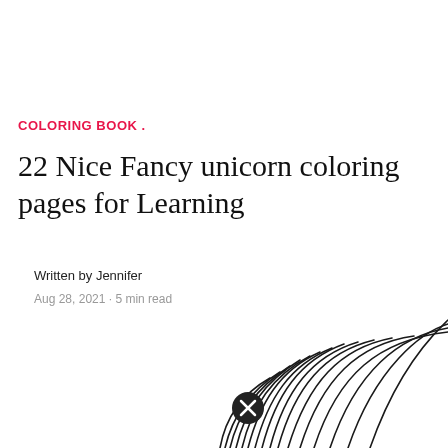COLORING BOOK .
22 Nice Fancy unicorn coloring pages for Learning
Written by Jennifer
Aug 28, 2021 · 5 min read
[Figure (illustration): Partial illustration of a unicorn with wing/feather details visible at the bottom of the page, with a close button (X circle) overlay]